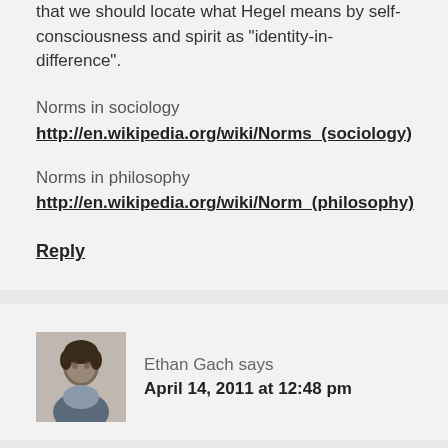that we should locate what Hegel means by self-consciousness and spirit as "identity-in-difference".
Norms in sociology
http://en.wikipedia.org/wiki/Norms_(sociology)
Norms in philosophy
http://en.wikipedia.org/wiki/Norm_(philosophy)
Reply
[Figure (photo): Small avatar photo of a young man with dark hair]
Ethan Gach says
April 14, 2011 at 12:48 pm